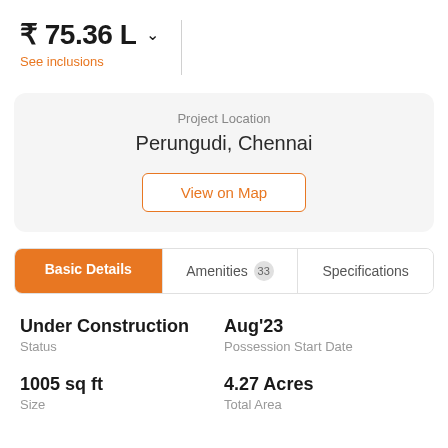₹ 75.36 L ∨
See inclusions
Project Location
Perungudi, Chennai
View on Map
Basic Details | Amenities 33 | Specifications
Under Construction
Status
Aug'23
Possession Start Date
1005 sq ft
Size
4.27 Acres
Total Area